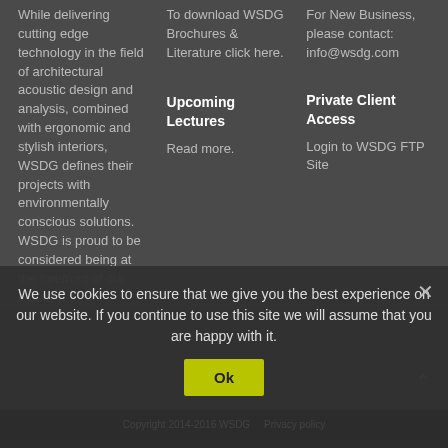While delivering cutting edge technology in the field of architectural acoustic design and analysis, combined with ergonomic and stylish interiors, WSDG defines their projects with environmentally conscious solutions. WSDG is proud to be considered being at the forefront of our industry.
To download WSDG Brochures & Literature click here.
For New Business, please contact: info@wsdg.com
Upcoming Lectures
Read more.
Private Client Access
Login to WSDG FTP Site
We use cookies to ensure that we give you the best experience on our website. If you continue to use this site we will assume that you are happy with it.
Ok
Copyright 2014-2016 WSDG   Privacy policy